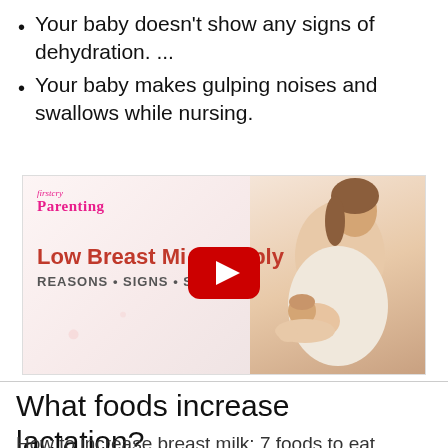Your baby doesn't show any signs of dehydration. ...
Your baby makes gulping noises and swallows while nursing.
[Figure (screenshot): Video thumbnail from Firstcry Parenting showing 'Low Breast Milk Supply - REASONS • SIGNS • SOLUTION' with a woman nursing a baby and a YouTube play button overlay.]
What foods increase lactation?
How to increase breast milk: 7 foods to eat